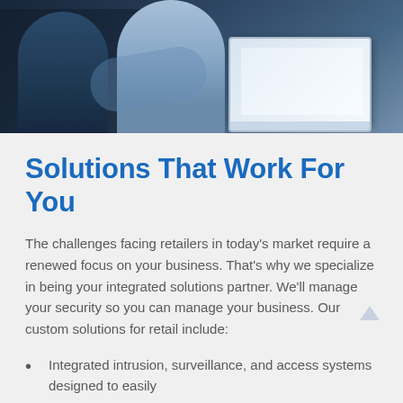[Figure (photo): Two people (one in dark blue shirt, one in light blue/grey shirt) working together, likely in a warehouse or business setting, with a laptop visible]
Solutions That Work For You
The challenges facing retailers in today's market require a renewed focus on your business. That's why we specialize in being your integrated solutions partner. We'll manage your security so you can manage your business. Our custom solutions for retail include:
Integrated intrusion, surveillance, and access systems designed to easily